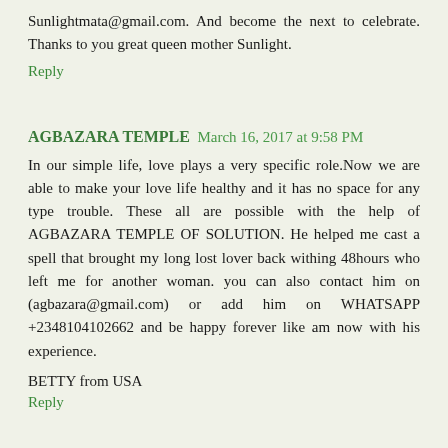Sunlightmata@gmail.com. And become the next to celebrate. Thanks to you great queen mother Sunlight.
Reply
AGBAZARA TEMPLE  March 16, 2017 at 9:58 PM
In our simple life, love plays a very specific role.Now we are able to make your love life healthy and it has no space for any type trouble. These all are possible with the help of AGBAZARA TEMPLE OF SOLUTION. He helped me cast a spell that brought my long lost lover back withing 48hours who left me for another woman. you can also contact him on (agbazara@gmail.com) or add him on WHATSAPP +2348104102662 and be happy forever like am now with his experience.
BETTY from USA
Reply